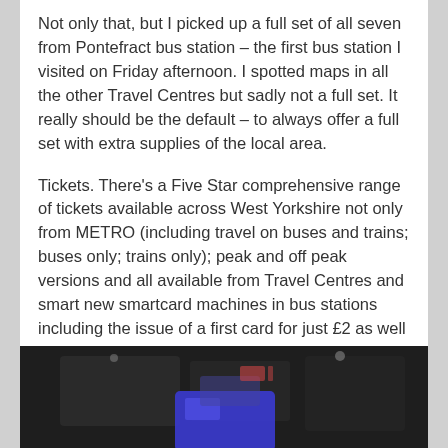Not only that, but I picked up a full set of all seven from Pontefract bus station – the first bus station I visited on Friday afternoon. I spotted maps in all the other Travel Centres but sadly not a full set. It really should be the default – to always offer a full set with extra supplies of the local area.
Tickets. There's a Five Star comprehensive range of tickets available across West Yorkshire not only from METRO (including travel on buses and trains; buses only; trains only); peak and off peak versions and all available from Travel Centres and smart new smartcard machines in bus stations including the issue of a first card for just £2 as well as top ups.
[Figure (photo): A dark photograph showing what appears to be a smartcard machine or kiosk in a bus station, with a blue smartcard visible in the foreground and text 'IO' visible on the left side.]